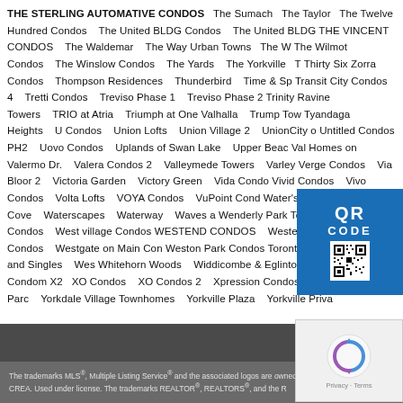THE STERLING AUTOMATIVE CONDOS   The Sumach   The Taylor   The Twelve Hundred Condos   The United BLDG Condos   The United BLDG   THE VINCENT CONDOS   The Waldemar   The Way Urban Towns   The Wilmot Condos   The Winslow Condos   The Yards   The Yorkville   Thirty Six Zorra Condos   Thompson Residences   Thunderbird   Time & Space   Transit City Condos 4   Tretti Condos   Treviso Phase 1   Treviso Phase 2   Trinity Ravine Towers   TRIO at Atria   Triumph at One Valhalla   Trump Tower   Tyandaga Heights   U Condos   Union Lofts   Union Village 2   UnionCity   Untitled Condos PH2   Uovo Condos   Uplands of Swan Lake   Upper Beach   Val Homes on Valermo Dr.   Valera Condos 2   Valleymede Towers   Varley   Verge Condos   Via Bloor 2   Victoria Garden   Victory Green   Vida Condos   Vivid Condos   Vivo Condos   Volta Lofts   VOYA Condos   VuPoint Condos   Water's Edge at The Cove   Waterscapes   Waterway   Waves at   Wenderly Park Towns   West Block Condos   West village Condos   WESTEND CONDOS   Westerly Condos   Westgate on Main Condos   Weston Park Condos Toronto   Westown Semis and Singles   Whitehorn Woods   Widdicombe & Eglinton   Wide Suites Condos   X2   XO Condos   XO Condos 2   Xpression Condos (I & II)   Yonge Parc   Yorkdale Village Townhomes   Yorkville Plaza   Yorkville Private Estates
[Figure (other): QR code overlay with blue background, showing 'QR CODE' text and a QR code image]
[Figure (other): reCAPTCHA widget showing the reCAPTCHA logo and Privacy/Terms links]
The trademarks MLS®, Multiple Listing Service® and the associated logos are owned by The Canadian Real Estate Association (CREA) and identify the quality of services provided by real estate professionals who are members of CREA. Used under license. The trademarks REALTOR®, REALTORS®, and the REALTOR® logo are controlled by The Canadian Real Estate Association (CREA) and identify real estate professionals who are members of CREA.